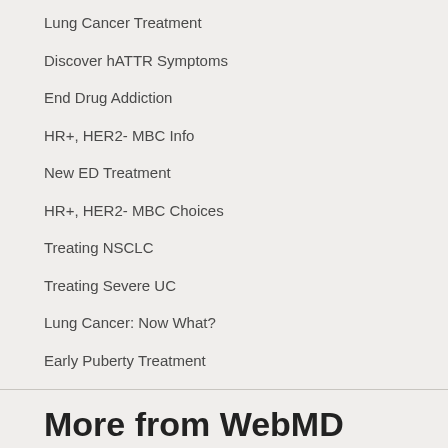Lung Cancer Treatment
Discover hATTR Symptoms
End Drug Addiction
HR+, HER2- MBC Info
New ED Treatment
HR+, HER2- MBC Choices
Treating NSCLC
Treating Severe UC
Lung Cancer: Now What?
Early Puberty Treatment
More from WebMD
ADVERTISEMENT